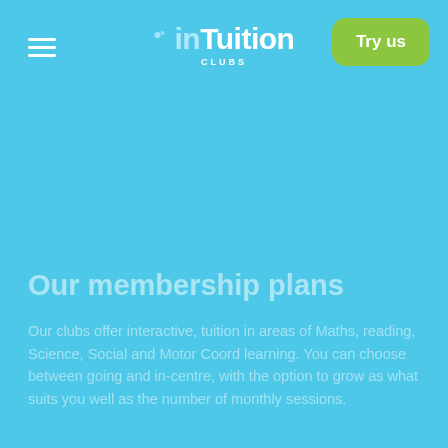inTuition CLUBS — Try us
Our membership plans
Our clubs offer interactive, tuition in areas of Maths, reading, Science, Social and Motor Coord learning. You can choose between going and in-centre, with the option to grow as what suits you well as the number of monthly sessions.